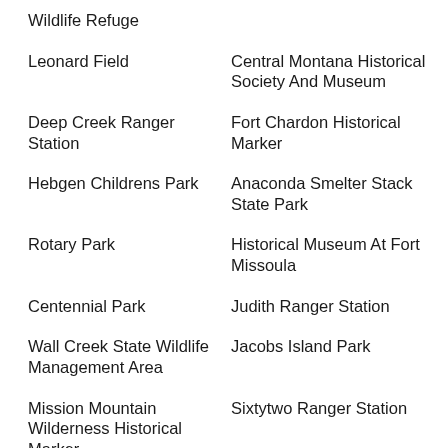Wildlife Refuge
Leonard Field
Central Montana Historical Society And Museum
Deep Creek Ranger Station
Fort Chardon Historical Marker
Hebgen Childrens Park
Anaconda Smelter Stack State Park
Rotary Park
Historical Museum At Fort Missoula
Centennial Park
Judith Ranger Station
Wall Creek State Wildlife Management Area
Jacobs Island Park
Mission Mountain Wilderness Historical Marker
Sixtytwo Ranger Station